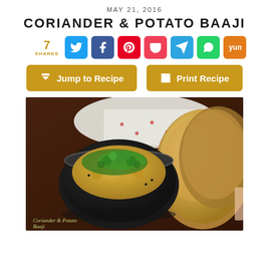MAY 21, 2016
CORIANDER & POTATO BAAJI
7 SHARES — social share buttons: Twitter, Facebook, Pinterest, Pocket, Telegram, WhatsApp, Yummly
Jump to Recipe | Print Recipe
[Figure (photo): A dark bowl filled with yellow coriander and potato baaji (mashed potato curry) garnished with fresh green coriander/cilantro, served alongside puffed puris on a wooden surface. Caption reads: Coriander & Potato Baaji]